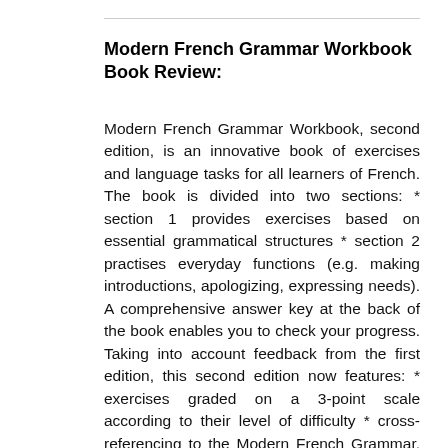Modern French Grammar Workbook Book Review:
Modern French Grammar Workbook, second edition, is an innovative book of exercises and language tasks for all learners of French. The book is divided into two sections: * section 1 provides exercises based on essential grammatical structures * section 2 practises everyday functions (e.g. making introductions, apologizing, expressing needs). A comprehensive answer key at the back of the book enables you to check your progress. Taking into account feedback from the first edition, this second edition now features: * exercises graded on a 3-point scale according to their level of difficulty * cross-referencing to the Modern French Grammar, Second Edition,